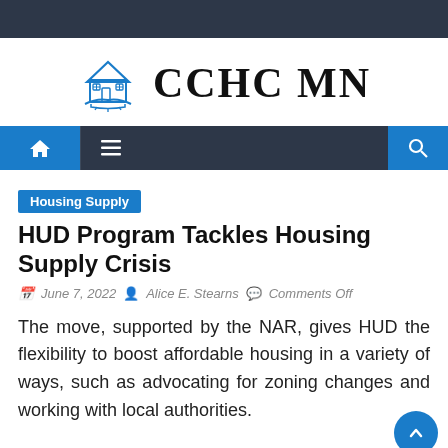[Figure (logo): CCHC MN logo with house illustration and text]
[Figure (other): Navigation bar with home icon, hamburger menu, and search icon]
Housing Supply
HUD Program Tackles Housing Supply Crisis
June 7, 2022  Alice E. Stearns  Comments Off
The move, supported by the NAR, gives HUD the flexibility to boost affordable housing in a variety of ways, such as advocating for zoning changes and working with local authorities.